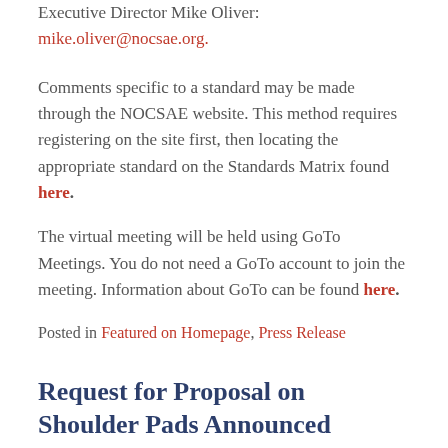Executive Director Mike Oliver: mike.oliver@nocsae.org.
Comments specific to a standard may be made through the NOCSAE website. This method requires registering on the site first, then locating the appropriate standard on the Standards Matrix found here.
The virtual meeting will be held using GoTo Meetings. You do not need a GoTo account to join the meeting. Information about GoTo can be found here.
Posted in Featured on Homepage, Press Release
Request for Proposal on Shoulder Pads Announced